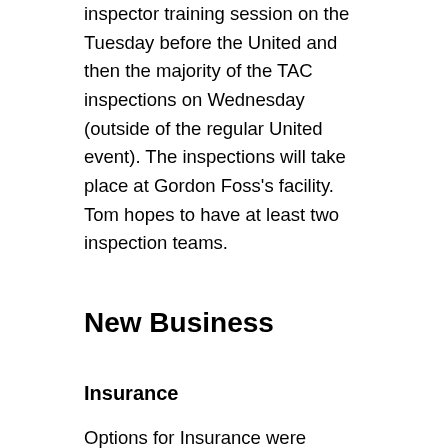inspector training session on the Tuesday before the United and then the majority of the TAC inspections on Wednesday (outside of the regular United event). The inspections will take place at Gordon Foss's facility. Tom hopes to have at least two inspection teams.
New Business
Insurance
Options for Insurance were presented: Current J.C. Taylor (annually $1183), Hagerty (more expensive that Taylor) and American Specialty Ins, Ft. Wayne, IN (covering 30+ member clubs as part of an